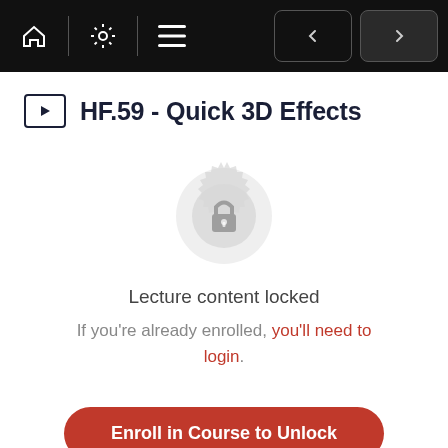Navigation bar with home, settings, menu icons and back/forward arrows
HF.59 - Quick 3D Effects
[Figure (illustration): A circular badge/seal icon in light gray with a padlock in the center, indicating locked content]
Lecture content locked
If you're already enrolled, you'll need to login.
Enroll in Course to Unlock